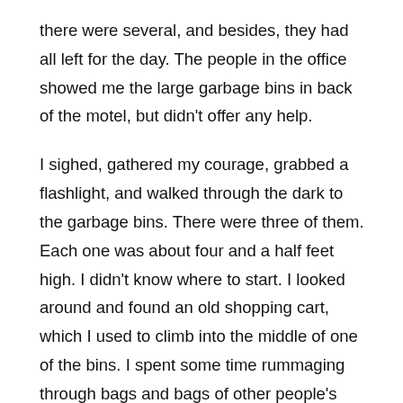there were several, and besides, they had all left for the day. The people in the office showed me the large garbage bins in back of the motel, but didn't offer any help.
I sighed, gathered my courage, grabbed a flashlight, and walked through the dark to the garbage bins. There were three of them. Each one was about four and a half feet high. I didn't know where to start. I looked around and found an old shopping cart, which I used to climb into the middle of one of the bins. I spent some time rummaging through bags and bags of other people's garbage, but I didn't have any luck. After a few minutes of tears of frustration, I finally gave up.